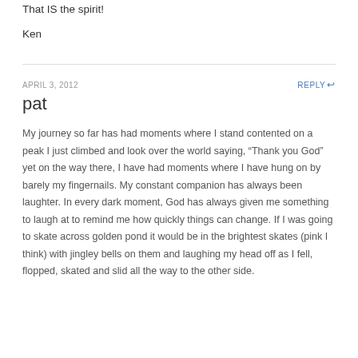That IS the spirit!
Ken
APRIL 3, 2012
REPLY
pat
My journey so far has had moments where I stand contented on a peak I just climbed and look over the world saying, “Thank you God” yet on the way there, I have had moments where I have hung on by barely my fingernails. My constant companion has always been laughter. In every dark moment, God has always given me something to laugh at to remind me how quickly things can change. If I was going to skate across golden pond it would be in the brightest skates (pink I think) with jingley bells on them and laughing my head off as I fell, flopped, skated and slid all the way to the other side.